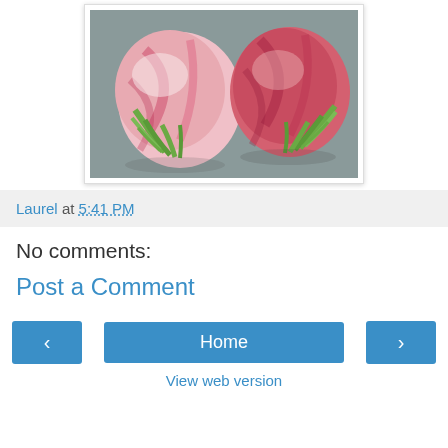[Figure (photo): Two turnips with pink and white coloring and green leafy tops, placed on a gray surface.]
Laurel at 5:41 PM
No comments:
Post a Comment
Home
View web version